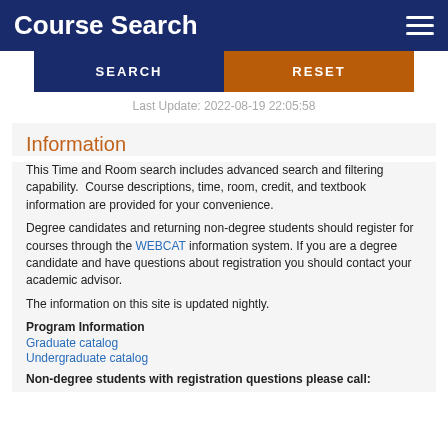Course Search
SEARCH   RESET
Last Update: 2022-08-19 22:05:58
Information
This Time and Room search includes advanced search and filtering capability.  Course descriptions, time, room, credit, and textbook information are provided for your convenience.
Degree candidates and returning non-degree students should register for courses through the WEBCAT information system. If you are a degree candidate and have questions about registration you should contact your academic advisor.
The information on this site is updated nightly.
Program Information
Graduate catalog
Undergraduate catalog
Non-degree students with registration questions please call: